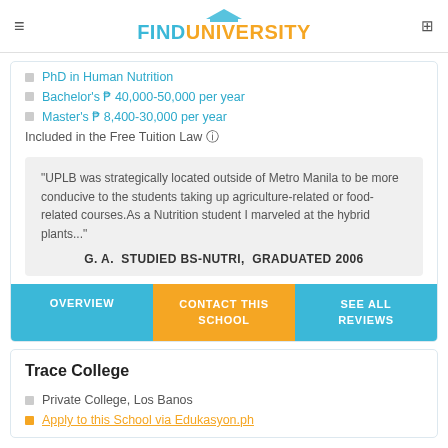FINDUNIVERSITY
PhD in Human Nutrition
Bachelor's ₱ 40,000-50,000 per year
Master's ₱ 8,400-30,000 per year
Included in the Free Tuition Law 🛈
"UPLB was strategically located outside of Metro Manila to be more conducive to the students taking up agriculture-related or food-related courses.As a Nutrition student I marveled at the hybrid plants..."
G. A.  STUDIED BS-NUTRI,  GRADUATED 2006
OVERVIEW
CONTACT THIS SCHOOL
SEE ALL REVIEWS
Trace College
Private College, Los Banos
Apply to this School via Edukasyon.ph